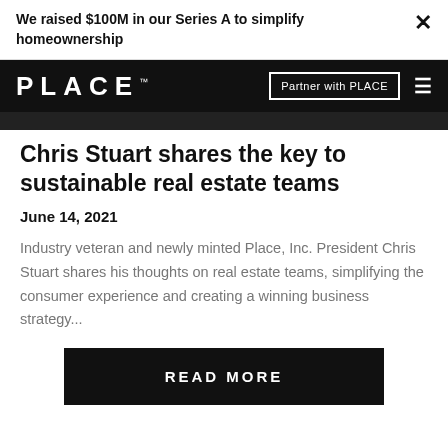We raised $100M in our Series A to simplify homeownership
Chris Stuart shares the key to sustainable real estate teams
June 14, 2021
Industry veteran and newly minted Place, Inc. President Chris Stuart shares his thoughts on real estate teams, simplifying the consumer experience and creating a winning business strategy...
READ MORE